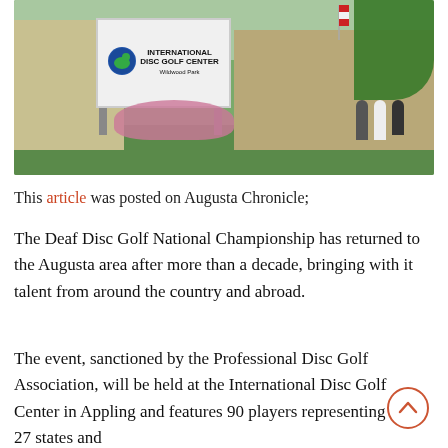[Figure (photo): Outdoor photo of the International Disc Golf Center sign at Wildwood Park, with a wooden porch structure, flowering bushes, trees, and people in the background.]
This article was posted on Augusta Chronicle;
The Deaf Disc Golf National Championship has returned to the Augusta area after more than a decade, bringing with it talent from around the country and abroad.
The event, sanctioned by the Professional Disc Golf Association, will be held at the International Disc Golf Center in Appling and features 90 players representing 27 states and